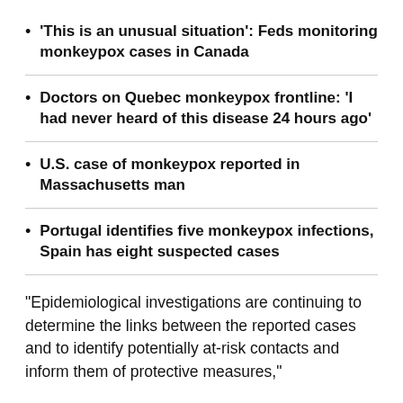'This is an unusual situation': Feds monitoring monkeypox cases in Canada
Doctors on Quebec monkeypox frontline: 'I had never heard of this disease 24 hours ago'
U.S. case of monkeypox reported in Massachusetts man
Portugal identifies five monkeypox infections, Spain has eight suspected cases
"Epidemiological investigations are continuing to determine the links between the reported cases and to identify potentially at-risk contacts and inform them of protective measures,"